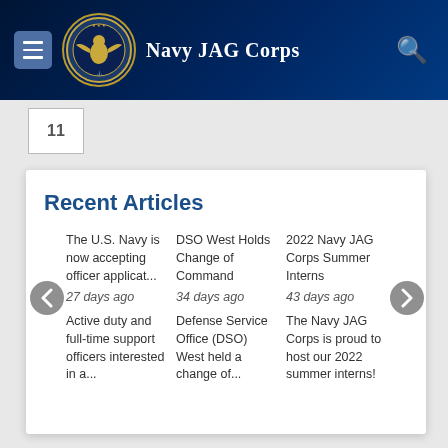Navy JAG Corps
Recent Articles
The U.S. Navy is now accepting officer applicat...
27 days ago
Active duty and full-time support officers interested in a...
DSO West Holds Change of Command
34 days ago
Defense Service Office (DSO) West held a change of...
2022 Navy JAG Corps Summer Interns
43 days ago
The Navy JAG Corps is proud to host our 2022 summer interns!